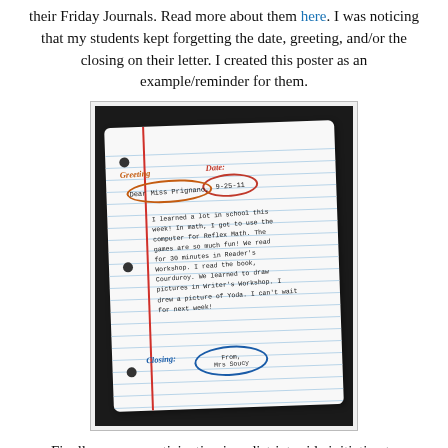their Friday Journals. Read more about them here. I was noticing that my students kept forgetting the date, greeting, and/or the closing on their letter. I created this poster as an example/reminder for them.
[Figure (photo): A photograph of a notebook paper poster displayed in a classroom. The poster shows a sample letter with labeled parts: 'Greeting' (circled in orange around 'Dear Miss Prignano'), 'Date:' (circled in red around '9-25-11'), body text about school activities, and 'Closing:' (labeled in blue with 'From, Mrs Soucy' circled in blue). The notebook paper has red margin line, blue ruled lines, and three-hole punch marks.]
Finally, we are participating in a district-wide initiative to improve our writing scores. We are all using a tool called